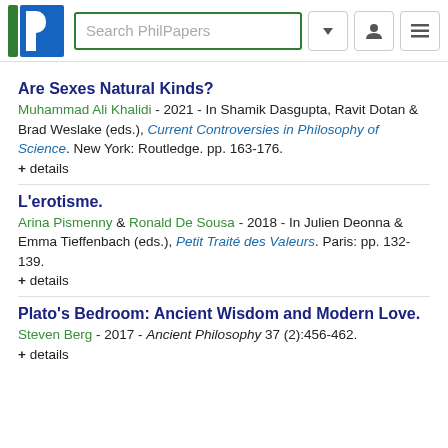Search PhilPapers
Are Sexes Natural Kinds?
Muhammad Ali Khalidi - 2021 - In Shamik Dasgupta, Ravit Dotan & Brad Weslake (eds.), Current Controversies in Philosophy of Science. New York: Routledge. pp. 163-176.
+ details
L'erotisme.
Arina Pismenny & Ronald De Sousa - 2018 - In Julien Deonna & Emma Tieffenbach (eds.), Petit Traité des Valeurs. Paris: pp. 132-139.
+ details
Plato's Bedroom: Ancient Wisdom and Modern Love.
Steven Berg - 2017 - Ancient Philosophy 37 (2):456-462.
+ details